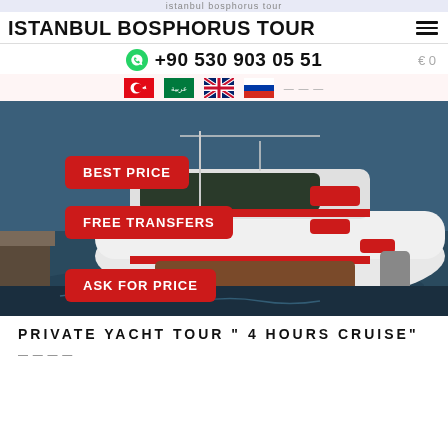ISTANBUL BOSPHORUS TOUR
+90 530 903 05 51
[Figure (photo): Luxury private yacht docked at marina, white hull with red accents, viewed from above at an angle. Overlaid red badge labels: BEST PRICE, FREE TRANSFERS, ASK FOR PRICE.]
PRIVATE YACHT TOUR " 4 HOURS CRUISE"